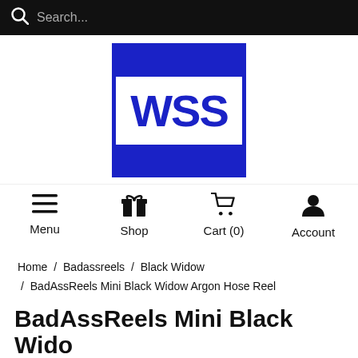Search...
[Figure (logo): WSS logo — white WSS text on blue square background]
Menu  Shop  Cart (0)  Account
Home / Badassreels / Black Widow / BadAssReels Mini Black Widow Argon Hose Reel
BadAssReels Mini Black Wido...